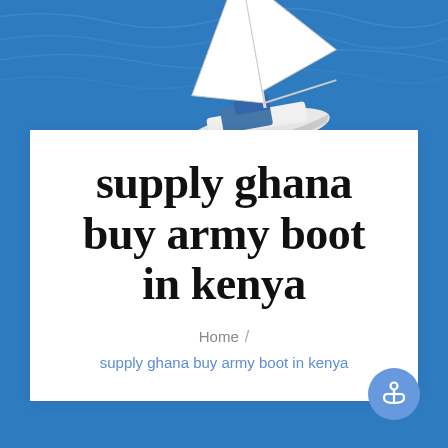[Figure (photo): Aerial view of a white sailboat on deep blue ocean water, seen from above. The sailboat has white sails deployed and a blue deck area.]
supply ghana buy army boot in kenya
Home / supply ghana buy army boot in kenya
[Figure (illustration): Round blue button with white anchor icon]